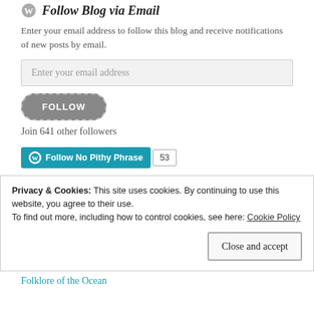Follow Blog via Email
Enter your email address to follow this blog and receive notifications of new posts by email.
Enter your email address
[Figure (other): FOLLOW button with rounded rectangle style and dashed border]
Join 641 other followers
[Figure (other): WordPress Follow No Pithy Phrase button with follower count badge showing 53]
Privacy & Cookies: This site uses cookies. By continuing to use this website, you agree to their use.
To find out more, including how to control cookies, see here: Cookie Policy
Close and accept
Folklore of the Ocean